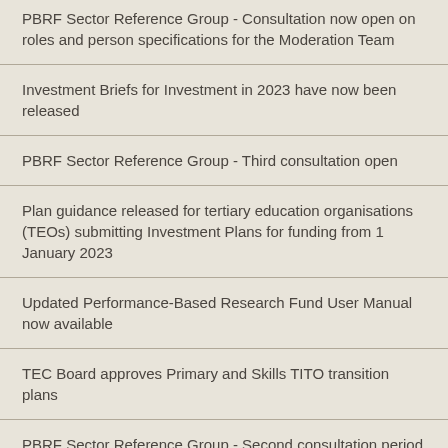PBRF Sector Reference Group - Consultation now open on roles and person specifications for the Moderation Team
Investment Briefs for Investment in 2023 have now been released
PBRF Sector Reference Group - Third consultation open
Plan guidance released for tertiary education organisations (TEOs) submitting Investment Plans for funding from 1 January 2023
Updated Performance-Based Research Fund User Manual now available
TEC Board approves Primary and Skills TITO transition plans
PBRF Sector Reference Group - Second consultation period closes 14 February